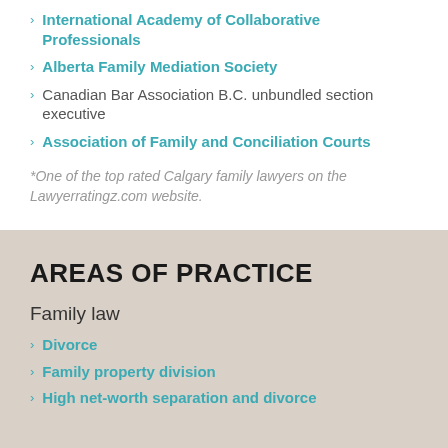International Academy of Collaborative Professionals
Alberta Family Mediation Society
Canadian Bar Association B.C. unbundled section executive
Association of Family and Conciliation Courts
*One of the top rated Calgary family lawyers on the Lawyerratingz.com website.
AREAS OF PRACTICE
Family law
Divorce
Family property division
High net-worth separation and divorce